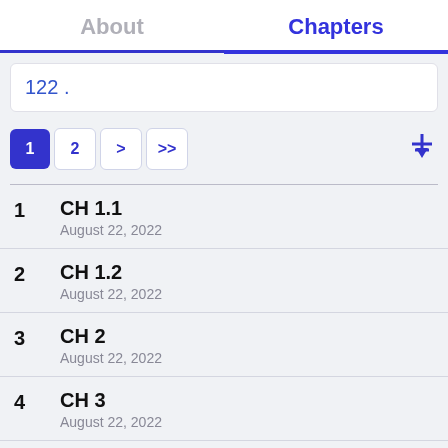About | Chapters
122 .
1  2  >  >>
1  CH 1.1  August 22, 2022
2  CH 1.2  August 22, 2022
3  CH 2  August 22, 2022
4  CH 3  August 22, 2022
5  CH 4  August 22, 2022